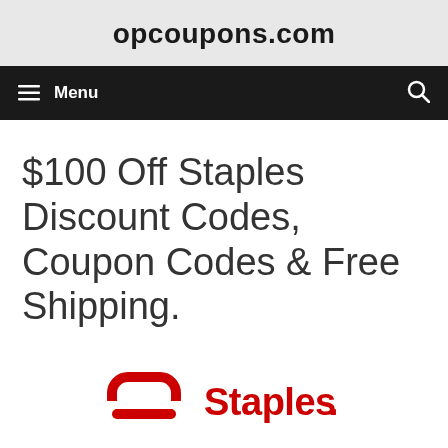opcoupons.com
$100 Off Staples Discount Codes, Coupon Codes & Free Shipping.
[Figure (logo): Staples logo in red with staple icon and 'Staples.' wordmark]